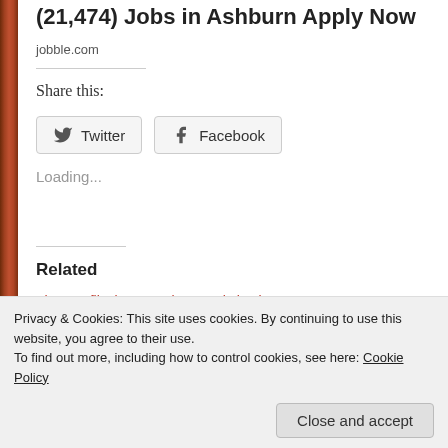(21,474) Jobs in Ashburn Apply Now
jobble.com
Share this:
Twitter  Facebook
Loading...
Related
The Conflict in Jerusalem Is Distinctly Modern: Here's the History
MYTH: Israel Is "Treating Palestinians..."
Privacy & Cookies: This site uses cookies. By continuing to use this website, you agree to their use.
To find out more, including how to control cookies, see here: Cookie Policy